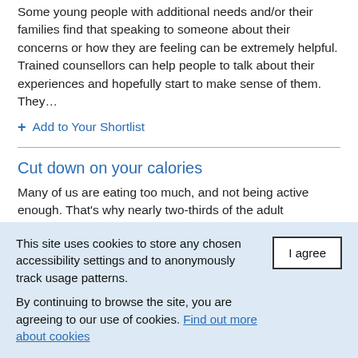Some young people with additional needs and/or their families find that speaking to someone about their concerns or how they are feeling can be extremely helpful. Trained counsellors can help people to talk about their experiences and hopefully start to make sense of them. They...
+ Add to Your Shortlist
Cut down on your calories
Many of us are eating too much, and not being active enough. That's why nearly two-thirds of the adult population in England is overweight or obese. Find out how much you should be eating and how to cut the
This site uses cookies to store any chosen accessibility settings and to anonymously track usage patterns.
By continuing to browse the site, you are agreeing to our use of cookies. Find out more about cookies